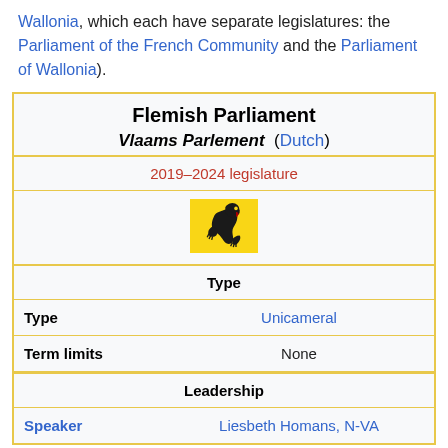Wallonia, which each have separate legislatures: the Parliament of the French Community and the Parliament of Wallonia).
| Flemish Parliament |  |
| Vlaams Parlement (Dutch) |  |
| 2019–2024 legislature |  |
| [Flanders lion emblem] |  |
| Type |  |
| Type | Unicameral |
| Term limits | None |
| Leadership |  |
| Speaker | Liesbeth Homans, N-VA |